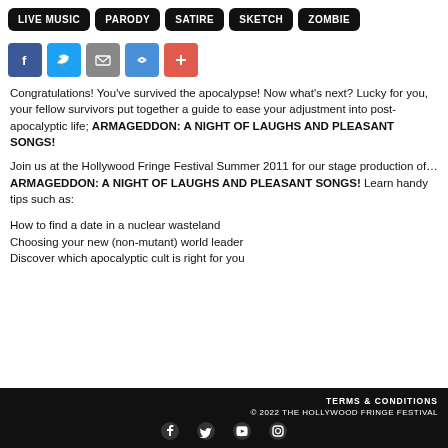LIVE MUSIC
PARODY
SATIRE
SKETCH
ZOMBIE
[Figure (infographic): Social sharing buttons: Facebook, Twitter, Email, Link, Plus]
Congratulations! You've survived the apocalypse! Now what's next? Lucky for you, your fellow survivors put together a guide to ease your adjustment into post-apocalyptic life; ARMAGEDDON: A NIGHT OF LAUGHS AND PLEASANT SONGS!
Join us at the Hollywood Fringe Festival Summer 2011 for our stage production of…ARMAGEDDON: A NIGHT OF LAUGHS AND PLEASANT SONGS! Learn handy tips such as:
How to find a date in a nuclear wasteland
Choosing your new (non-mutant) world leader
Discover which apocalyptic cult is right for you
TERMS & CONDITIONS
© 2022 THE HOLLYWOOD FRINGE FESTIVAL